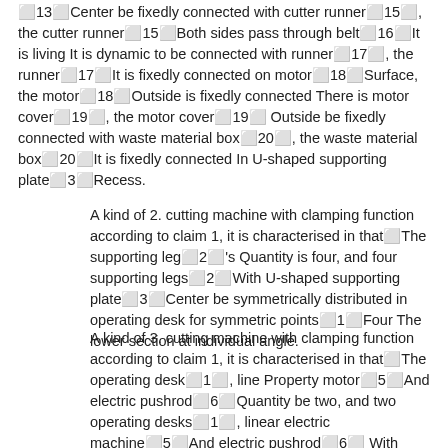⬜13⬜Center be fixedly connected with cutter runner⬜15⬜, the cutter runner⬜15⬜Both sides pass through belt⬜16⬜It is living It is dynamic to be connected with runner⬜17⬜, the runner⬜17⬜It is fixedly connected on motor⬜18⬜Surface, the motor⬜18⬜Outside is fixedly connected There is motor cover⬜19⬜, the motor cover⬜19⬜Outside be fixedly connected with waste material box⬜20⬜, the waste material box⬜20⬜It is fixedly connected In U-shaped supporting plate⬜3⬜Recess.
A kind of 2. cutting machine with clamping function according to claim 1, it is characterised in that⬜The supporting leg⬜2⬜'s Quantity is four, and four supporting legs⬜2⬜With U-shaped supporting plate⬜3⬜Center be symmetrically distributed in operating desk for symmetric points⬜1⬜Four The lower section at individual angle.
A kind of 3. cutting machine with clamping function according to claim 1, it is characterised in that⬜The operating desk⬜1⬜, line Property motor⬜5⬜And electric pushrod⬜6⬜Quantity be two, and two operating desks⬜1⬜, linear electric machine⬜5⬜And electric pushrod⬜6⬜ With cutter⬜13⬜Center is that symmetric points are symmetrically distributed in cutter⬜13⬜The left and right